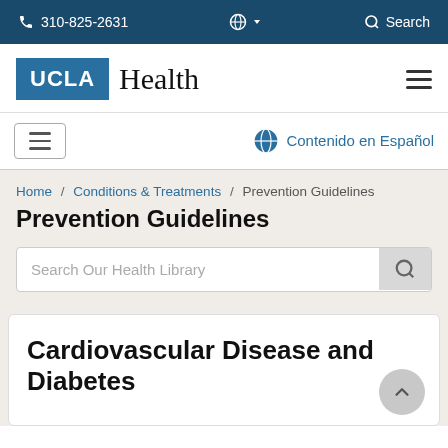310-825-2631  Search
[Figure (logo): UCLA Health logo with UCLA in white text on blue box and Health in serif black text]
Contenido en Español
Home / Conditions & Treatments / Prevention Guidelines
Prevention Guidelines
Search Our Health Library
Cardiovascular Disease and Diabetes